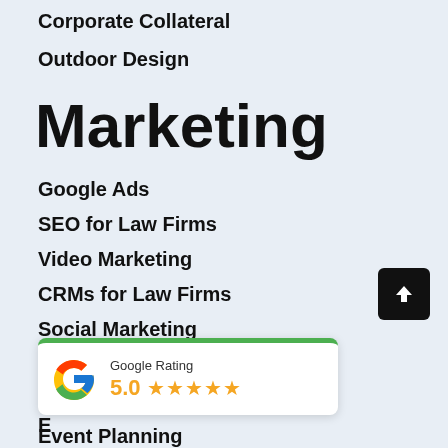Corporate Collateral
Outdoor Design
Marketing
Google Ads
SEO for Law Firms
Video Marketing
CRMs for Law Firms
Social Marketing
Content Writing
E...
E...
Event Planning
[Figure (infographic): Google Rating badge showing 5.0 stars rating with Google G logo and green top border]